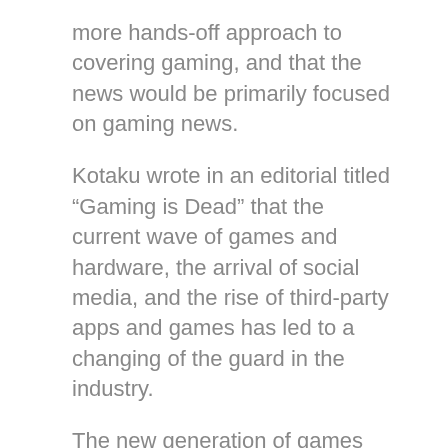more hands-off approach to covering gaming, and that the news would be primarily focused on gaming news.
Kotaku wrote in an editorial titled “Gaming is Dead” that the current wave of games and hardware, the arrival of social media, and the rise of third-party apps and games has led to a changing of the guard in the industry.
The new generation of games are often considered superior to the old, and new technology has given rise to the “gamer” subculture.
This has led many gamers to feel that the gaming industry has become “dead” and that it should be better off for everyone involved.
Kotak went on to say in the editorial that this attitude has created a “death spiral” for the industry, and a need for “new approaches” and “new voices.”